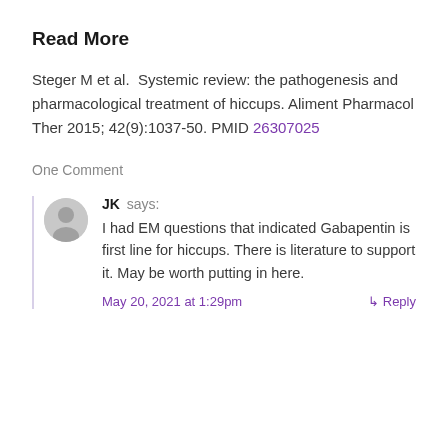Read More
Steger M et al.  Systemic review: the pathogenesis and pharmacological treatment of hiccups. Aliment Pharmacol Ther 2015; 42(9):1037-50. PMID 26307025
One Comment
JK says:
I had EM questions that indicated Gabapentin is first line for hiccups. There is literature to support it. May be worth putting in here.
May 20, 2021 at 1:29pm  ↳ Reply